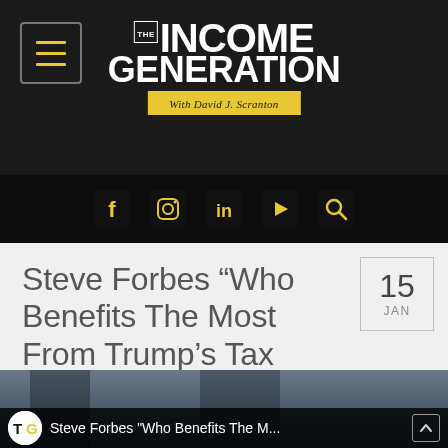THE INCOME GENERATION With David J. Scranton
[Figure (logo): The Income Generation logo with 'With David J. Scranton' tagline on yellow background, on dark header bar with hamburger menu icon and social media icons]
Steve Forbes “Who Benefits The Most From Trump’s Tax Plan”
15 JAN
[Figure (screenshot): Video thumbnail showing TIG logo and text: Steve Forbes "Who Benefits The M..." with scroll-up button]